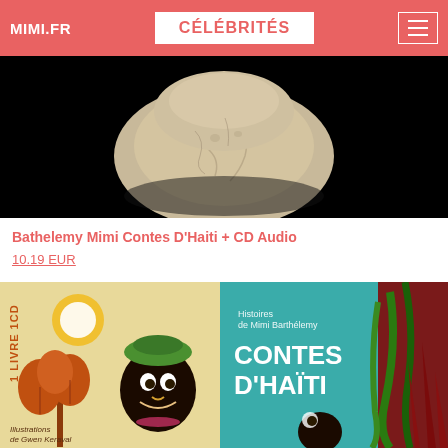MIMI.FR | CÉLÉBRITÉS
[Figure (photo): Partial view of a stone or fossil artifact on a black background]
Bathelemy Mimi Contes D'Haiti + CD Audio
10.19 EUR
[Figure (photo): Book cover: 'Contes D'Haïti' by Mimi Barthélemy, illustrated by Gwen Keraval, showing colorful folk art characters and tropical plants. Text includes '1 livre 1 CD', 'Histoires de Mimi Barthélemy', 'CONTES D'HAÏTI', 'Illustrations de Gwen Keraval']